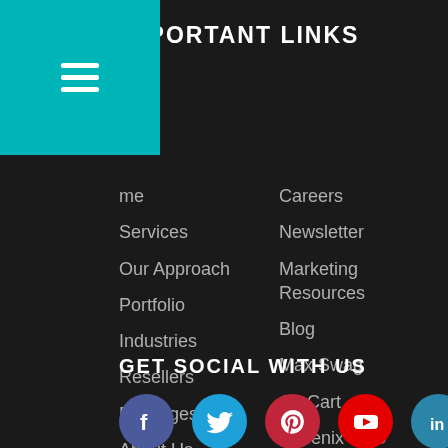IMPORTANT LINKS
Home
Careers
Services
Newsletter
Our Approach
Marketing Resources
Portfolio
Blog
Industries
Max Swag
Resellers
Art Cart
Packages
Phoenix SEO
About Us
GET SOCIAL WITH US
[Figure (infographic): Row of social media icons: Facebook (purple-blue circle), Twitter (blue circle), Pinterest (dark red circle), YouTube (red circle), LinkedIn (teal circle)]